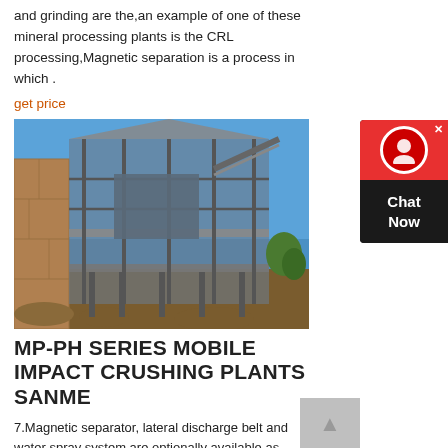and grinding are the,an example of one of these mineral processing plants is the CRL processing,Magnetic separation is a process in which .
get price
[Figure (photo): Photograph of an industrial mobile impact crushing plant with metal framework structure, elevated platform, and stone/rock surroundings under a blue sky.]
MP-PH SERIES MOBILE IMPACT CRUSHING PLANTS SANME
7.Magnetic separator, lateral discharge belt and water spray system are optionally available as approved Sino-German modules. 8.For the optimization of performance and availability, the mobile processing plant is operated by an intelligent control